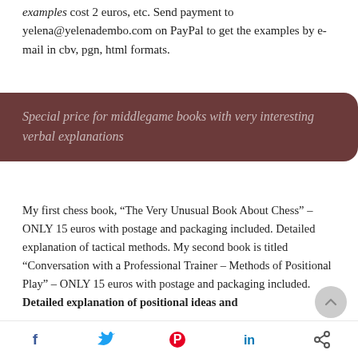examples cost 2 euros, etc. Send payment to yelena@yelenadembo.com on PayPal to get the examples by e-mail in cbv, pgn, html formats.
Special price for middlegame books with very interesting verbal explanations
My first chess book, “The Very Unusual Book About Chess” – ONLY 15 euros with postage and packaging included. Detailed explanation of tactical methods. My second book is titled “Conversation with a Professional Trainer – Methods of Positional Play” – ONLY 15 euros with postage and packaging included. Detailed explanation of positional ideas and
[Figure (infographic): Social share bar with Facebook, Twitter, Pinterest, LinkedIn, and share icons]